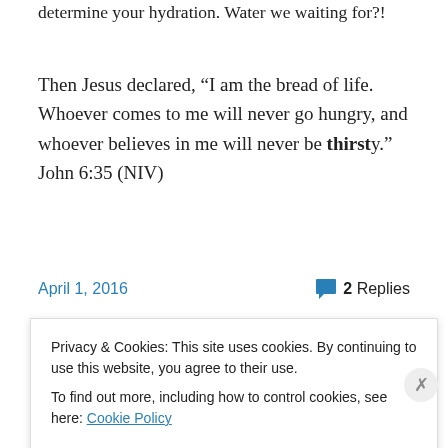determine your hydration. Water we waiting for?!
Then Jesus declared, “I am the bread of life. Whoever comes to me will never go hungry, and whoever believes in me will never be thirsty.” John 6:35 (NIV)
April 1, 2016
2 Replies
Privacy & Cookies: This site uses cookies. By continuing to use this website, you agree to their use.
To find out more, including how to control cookies, see here: Cookie Policy
Close and accept